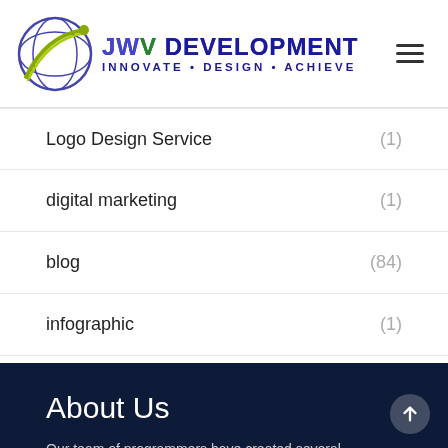JWV DEVELOPMENT INNOVATE • DESIGN • ACHIEVE
Logo Design Service (1)
digital marketing (1)
blog (84)
infographic (1)
About Us
Our team of programmers have created several enterprise solutions for multiple fortune 500 companies. We have a build it ourselves mentality that separates us from our...